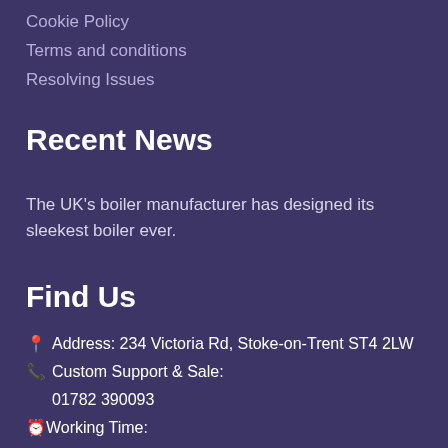Cookie Policy
Terms and conditions
Resolving Issues
Recent News
The UK's boiler manufacturer has designed its sleekest boiler ever.
Find Us
📍 Address: 234 Victoria Rd, Stoke-on-Trent ST4 2LW
📞 Custom Support & Sale:
01782 390093
🕐 Working Time:
Mon–Sat: 08:00–18:00